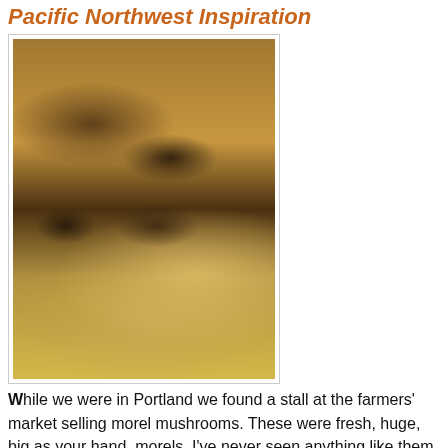Pacific Northwest Inspiration
[Figure (photo): A plate of egg noodles topped with pork or chicken in a cream sauce with large morel mushrooms]
While we were in Portland we found a stall at the farmers' market selling morel mushrooms. These were fresh, huge, big as your hand, morels. I've never seen anything like them, nor quite so many in one place! This was the same stall at which I got the ramp salt. We didn't buy any morels, but it got me thinking